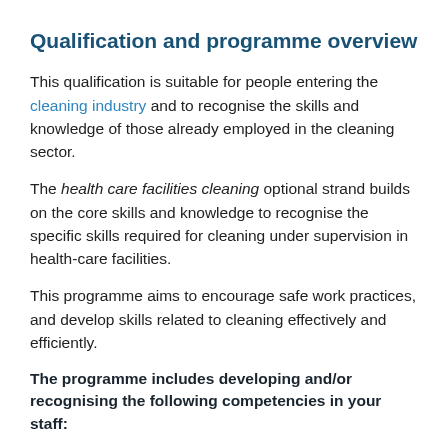Qualification and programme overview
This qualification is suitable for people entering the cleaning industry and to recognise the skills and knowledge of those already employed in the cleaning sector.
The health care facilities cleaning optional strand builds on the core skills and knowledge to recognise the specific skills required for cleaning under supervision in health-care facilities.
This programme aims to encourage safe work practices, and develop skills related to cleaning effectively and efficiently.
The programme includes developing and/or recognising the following competencies in your staff: